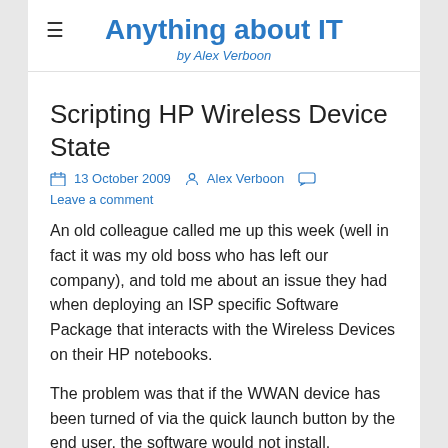Anything about IT
by Alex Verboon
Scripting HP Wireless Device State
13 October 2009   Alex Verboon   Leave a comment
An old colleague called me up this week (well in fact it was my old boss who has left our company), and told me about an issue they had when deploying an ISP specific Software Package that interacts with the Wireless Devices on their HP notebooks.
The problem was that if the WWAN device has been turned of via the quick launch button by the end user, the software would not install.
What many don't know is that there is a command line utility that allows you to automate the Wireless Device State on HP devices. If you have the HP Wireless Assistant Software installed, you should have the utility wireless.exe stored under C:\Program